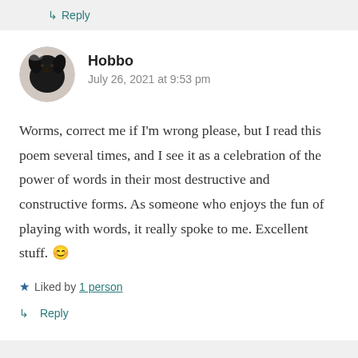↳ Reply
[Figure (photo): Circular avatar photo of a black dog]
Hobbo
July 26, 2021 at 9:53 pm
Worms, correct me if I'm wrong please, but I read this poem several times, and I see it as a celebration of the power of words in their most destructive and constructive forms. As someone who enjoys the fun of playing with words, it really spoke to me. Excellent stuff. 😊
★ Liked by 1 person
↳ Reply